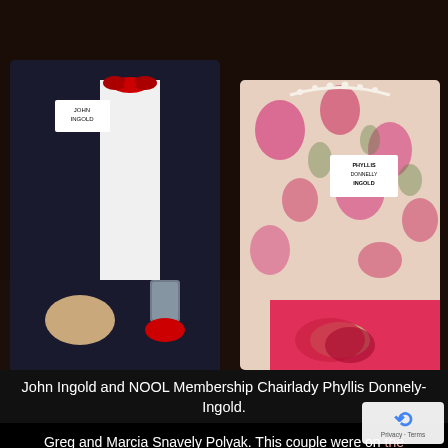[Figure (photo): Photo of two people seated: a man on the left in a dark suit with red bow tie and name tag reading 'JOHN INGOLD', and a woman on the right in a floral pink/green blouse with pearl necklace and name tag reading 'PHYLLIS DONNELY INGOLD'. The man holds a glass. Background is dark.]
John Ingold and NOOL Membership Chairlady Phyllis Donnely-Ingold.
Greg and Marcia Snavely Polyak. This couple were on the Cleveland Opera Board and Charter members of NOOL. Marcia is locally famous for her piano playing just every benefit gig and party. Most often she donate professional playing abilities helping each organizati a profit. She is known to have music put in front of her